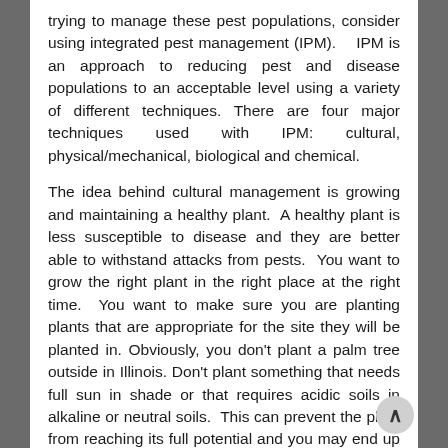trying to manage these pest populations, consider using integrated pest management (IPM).   IPM is an approach to reducing pest and disease populations to an acceptable level using a variety of different techniques. There are four major techniques used with IPM: cultural, physical/mechanical, biological and chemical.
The idea behind cultural management is growing and maintaining a healthy plant.  A healthy plant is less susceptible to disease and they are better able to withstand attacks from pests.  You want to grow the right plant in the right place at the right time.  You want to make sure you are planting plants that are appropriate for the site they will be planted in. Obviously, you don't plant a palm tree outside in Illinois. Don't plant something that needs full sun in shade or that requires acidic soils in alkaline or neutral soils.  This can prevent the plant from reaching its full potential and you may end up with a weak disease and insect riddled